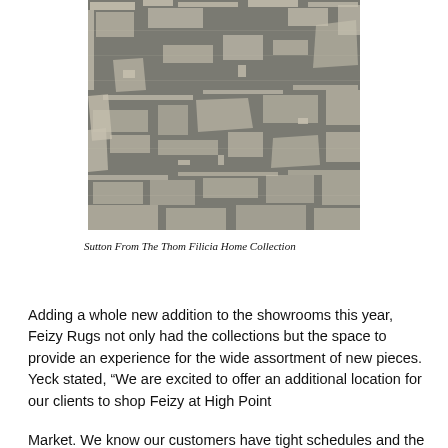[Figure (photo): Abstract patterned rug with dark gray/brown background and cream/beige irregular geometric shapes resembling a deconstructed grid or map pattern — the Sutton rug from The Thom Filicia Home Collection by Feizy Rugs.]
Sutton From The Thom Filicia Home Collection
Adding a whole new addition to the showrooms this year, Feizy Rugs not only had the collections but the space to provide an experience for the wide assortment of new pieces. Yeck stated, “We are excited to offer an additional location for our clients to shop Feizy at High Point
Market. We know our customers have tight schedules and the ability to